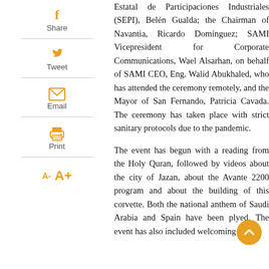Estatal de Participaciones Industriales (SEPI), Belén Gualda; the Chairman of Navantia, Ricardo Domínguez; SAMI Vicepresident for Corporate Communications, Wael Alsarhan, on behalf of SAMI CEO, Eng. Walid Abukhaled, who has attended the ceremony remotely, and the Mayor of San Fernando, Patricia Cavada. The ceremony has taken place with strict sanitary protocols due to the pandemic.
The event has begun with a reading from the Holy Quran, followed by videos about the city of Jazan, about the Avante 2200 program and about the building of this corvette. Both the national anthem of Saudi Arabia and Spain have been played. The event has also included welcoming
[Figure (infographic): Social sharing sidebar with Facebook share, Twitter tweet, Email, and Print icons plus font size controls (A- A+)]